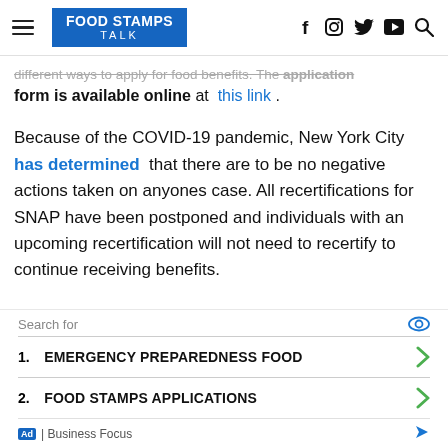FOOD STAMPS TALK
different ways to apply for food benefits. The application form is available online at this link.
Because of the COVID-19 pandemic, New York City has determined that there are to be no negative actions taken on anyones case. All recertifications for SNAP have been postponed and individuals with an upcoming recertification will not need to recertify to continue receiving benefits.
Search for
1. EMERGENCY PREPAREDNESS FOOD
2. FOOD STAMPS APPLICATIONS
Ad | Business Focus